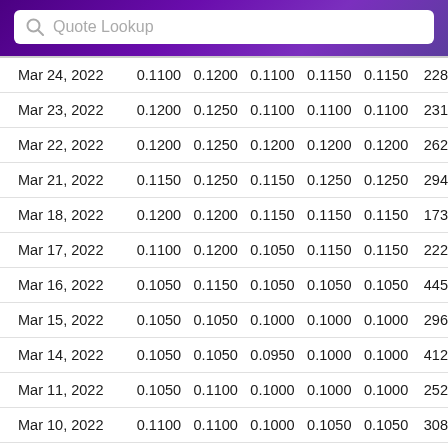Quote Lookup
| Date | Open | High | Low | Close | Adj Close | Volume |
| --- | --- | --- | --- | --- | --- | --- |
| Mar 24, 2022 | 0.1100 | 0.1200 | 0.1100 | 0.1150 | 0.1150 | 228... |
| Mar 23, 2022 | 0.1200 | 0.1250 | 0.1100 | 0.1100 | 0.1100 | 231... |
| Mar 22, 2022 | 0.1200 | 0.1250 | 0.1200 | 0.1200 | 0.1200 | 262... |
| Mar 21, 2022 | 0.1150 | 0.1250 | 0.1150 | 0.1250 | 0.1250 | 294... |
| Mar 18, 2022 | 0.1200 | 0.1200 | 0.1150 | 0.1150 | 0.1150 | 173... |
| Mar 17, 2022 | 0.1100 | 0.1200 | 0.1050 | 0.1150 | 0.1150 | 222... |
| Mar 16, 2022 | 0.1050 | 0.1150 | 0.1050 | 0.1050 | 0.1050 | 445... |
| Mar 15, 2022 | 0.1050 | 0.1050 | 0.1000 | 0.1000 | 0.1000 | 296... |
| Mar 14, 2022 | 0.1050 | 0.1050 | 0.0950 | 0.1000 | 0.1000 | 412... |
| Mar 11, 2022 | 0.1050 | 0.1100 | 0.1000 | 0.1000 | 0.1000 | 252... |
| Mar 10, 2022 | 0.1100 | 0.1100 | 0.1000 | 0.1050 | 0.1050 | 308... |